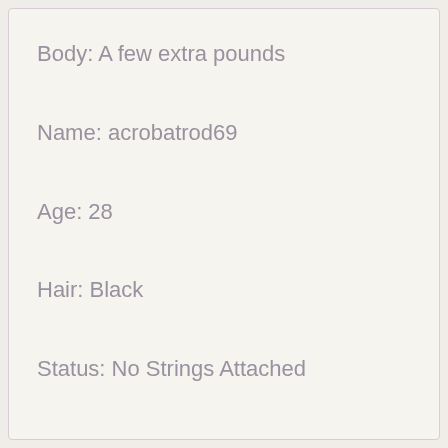Body: A few extra pounds
Name: acrobatrod69
Age: 28
Hair: Black
Status: No Strings Attached